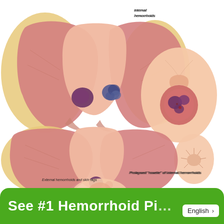[Figure (illustration): Medical anatomical illustration showing multiple views of hemorrhoids: top-left shows a cross-sectional view of internal hemorrhoids with label 'internal hemorrhoids'; top-right shows a prolapsed 'rosette' of internal hemorrhoids external view with visible prolapsed tissue; bottom-left shows external hemorrhoids and skin tags with label 'External hemorrhoids and skin tags'; bottom-right shows an external anal view with skin tags; bottom-center shows a partial external anal view.]
internal hemorrhoids
Prolapsed 'rosette' of internal hemorrhoids
External hemorrhoids and skin tags
See #1 Hemorrhoid Pi...
English >